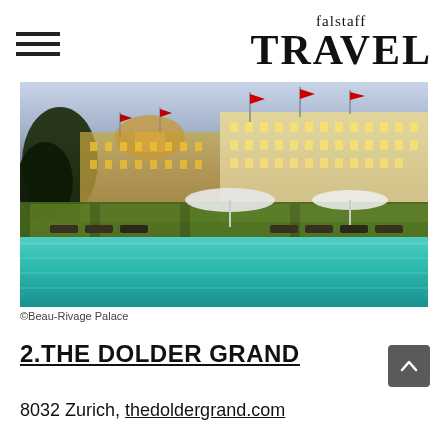falstaff TRAVEL
[Figure (photo): Luxury hotel at dusk with illuminated facade, flags, outdoor pool with turquoise water, and pool deck with loungers and umbrellas — Beau-Rivage Palace]
©Beau-Rivage Palace
2.THE DOLDER GRAND
8032 Zurich, thedoldergrand.com